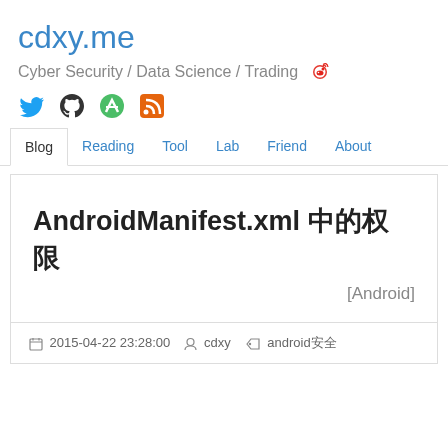cdxy.me
Cyber Security / Data Science / Trading
[Figure (logo): Social media icons: Twitter (blue bird), GitHub (black octocat), Feedly (blue icon), RSS (red feed icon)]
Blog | Reading | Tool | Lab | Friend | About
AndroidManifest.xml 中的权限
[Android]
2015-04-22 23:28:00   cdxy   android安全